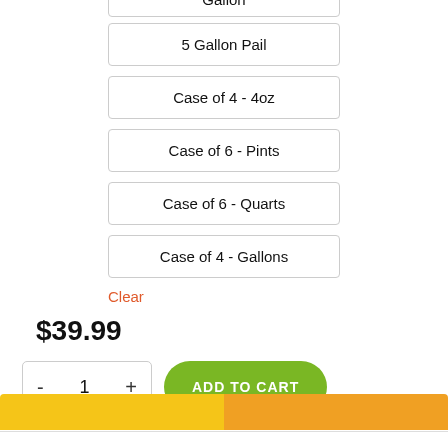Gallon
5 Gallon Pail
Case of 4 - 4oz
Case of 6 - Pints
Case of 6 - Quarts
Case of 4 - Gallons
Clear
$39.99
- 1 + ADD TO CART
PayPal Pay in 4 interest-free payments on purchases of $30-$1,500. Learn more